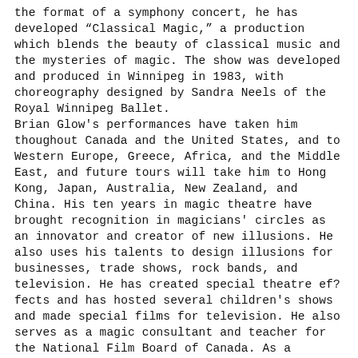the format of a symphony concert, he has developed "Classical Magic," a production which blends the beauty of classical music and the mysteries of magic. The show was developed and produced in Winnipeg in 1983, with choreography designed by Sandra Neels of the Royal Winnipeg Ballet.
Brian Glow's performances have taken him thoughout Canada and the United States, and to Western Europe, Greece, Africa, and the Middle East, and future tours will take him to Hong Kong, Japan, Australia, New Zealand, and China. His ten years in magic theatre have brought recognition in magicians' circles as an innovator and creator of new illusions. He also uses his talents to design illusions for businesses, trade shows, rock bands, and television. He has created special theatre ef?fects and has hosted several children's shows and made special films for television. He also serves as a magic consultant and teacher for the National Film Board of Canada. As a university graduate with a degree in physiological psychology, Brian's contact with academic circles has led to several lectures in which he has dealt with everything from schizophrenia to perception, illustrating his points with magic.
The Northwood Orchestra was established in 1979 as the resident orchestra for the Northwood Institute's Festival of the Lakes. Under Don Jaeger's leadership, the ensemble has expanded its scope to include performances in major cities